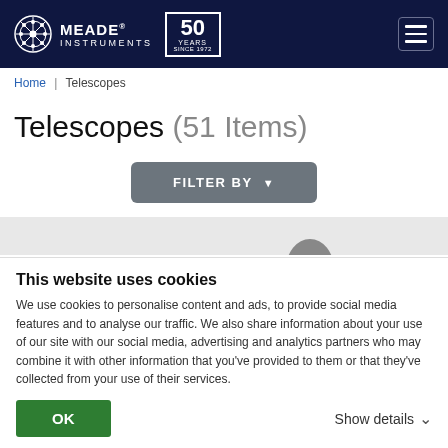[Figure (logo): Meade Instruments logo with 50 Years badge on dark navy header]
Home | Telescopes
Telescopes (51 Items)
FILTER BY
[Figure (photo): Partial view of a telescope product]
This website uses cookies
We use cookies to personalise content and ads, to provide social media features and to analyse our traffic. We also share information about your use of our site with our social media, advertising and analytics partners who may combine it with other information that you've provided to them or that they've collected from your use of their services.
OK
Show details